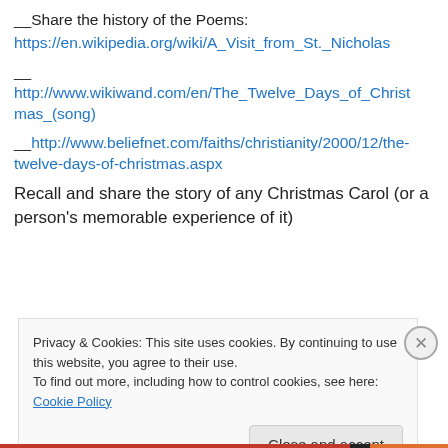__Share the history of the Poems:
https://en.wikipedia.org/wiki/A_Visit_from_St._Nicholas
__
http://www.wikiwand.com/en/The_Twelve_Days_of_Christmas_(song)
__http://www.beliefnet.com/faiths/christianity/2000/12/the-twelve-days-of-christmas.aspx
Recall and share the story of any Christmas Carol (or a person's memorable experience of it)
Privacy & Cookies: This site uses cookies. By continuing to use this website, you agree to their use.
To find out more, including how to control cookies, see here: Cookie Policy